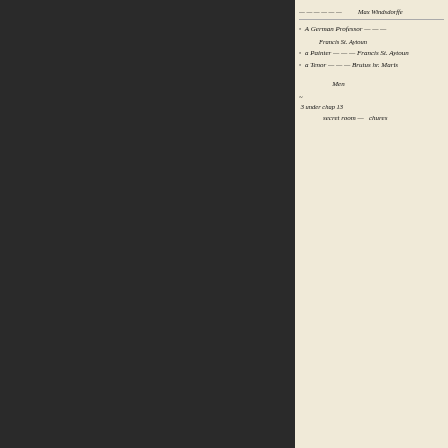[Figure (photo): Bram Stoker's handwritten manuscript notes on characters, showing cursive writing with names like 'A German Professor — Max Windsdorffe', 'A Painter — Francis St Aytoun', 'A Tenor — Brutus hr. Maris', and references to 'secret room' with other annotations.]
Bram Stoker's handwritten notes on the characters o...
From the first day of his starting, signs and wonders follow him. At Bistritz the landlady warns him not to go to Castle Dracula, and, finding his resolve is unalterable, places a rosary with a crucifix round his neck. For this he had cause to be grateful afterwards. Harker's fellow-passengers on the coach become more and more alarmed about his safety as they come nearer to the home of the Count. Kindly gifts are pressed upon him: wild rose, garlic, and more, all meant to be a protection against the evil eye. The author seems to know Transylvania and all its superstitions. Presently in the Borgo Pass a carriage with horses drives up beside the coach. "The horses were driven by a ta...